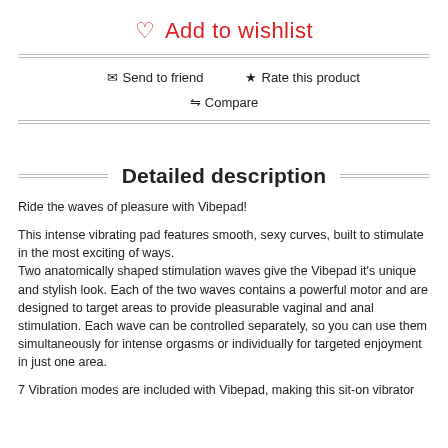♡ Add to wishlist
✉ Send to friend
★ Rate this product
⇄ Compare
Detailed description
Ride the waves of pleasure with Vibepad!
This intense vibrating pad features smooth, sexy curves, built to stimulate in the most exciting of ways.
Two anatomically shaped stimulation waves give the Vibepad it's unique and stylish look. Each of the two waves contains a powerful motor and are designed to target areas to provide pleasurable vaginal and anal stimulation. Each wave can be controlled separately, so you can use them simultaneously for intense orgasms or individually for targeted enjoyment in just one area.
7 Vibration modes are included with Vibepad, making this sit-on vibrator